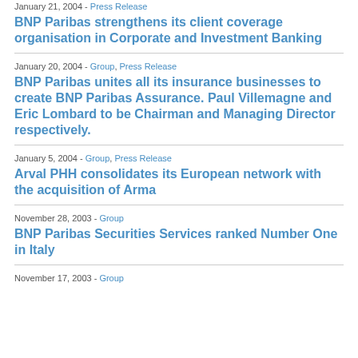January 21, 2004 - Press Release
BNP Paribas strengthens its client coverage organisation in Corporate and Investment Banking
January 20, 2004 - Group, Press Release
BNP Paribas unites all its insurance businesses to create BNP Paribas Assurance. Paul Villemagne and Eric Lombard to be Chairman and Managing Director respectively.
January 5, 2004 - Group, Press Release
Arval PHH consolidates its European network with the acquisition of Arma
November 28, 2003 - Group
BNP Paribas Securities Services ranked Number One in Italy
November 17, 2003 - Group